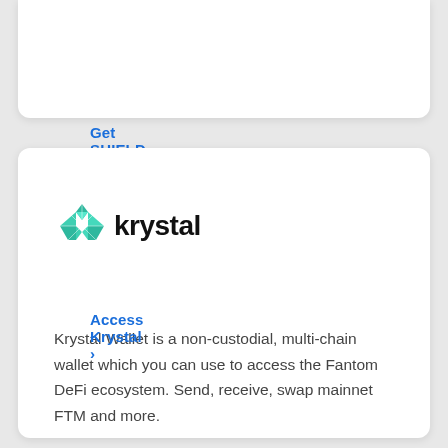Get SHIELD Wallet >
[Figure (logo): Krystal wallet logo: teal geometric crystal/gem shape followed by the word 'krystal' in bold black text]
Krystal Wallet is a non-custodial, multi-chain wallet which you can use to access the Fantom DeFi ecosystem. Send, receive, swap mainnet FTM and more.
Access Krystal >